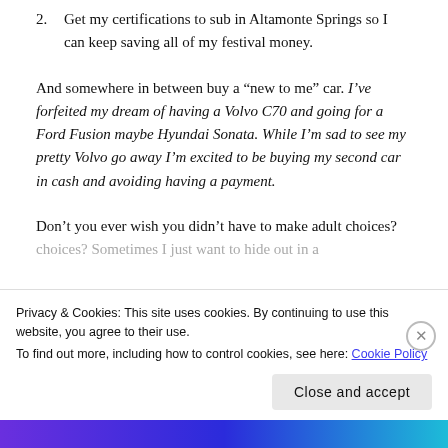2. Get my certifications to sub in Altamonte Springs so I can keep saving all of my festival money.
And somewhere in between buy a “new to me” car. I’ve forfeited my dream of having a Volvo C70 and going for a Ford Fusion maybe Hyundai Sonata. While I’m sad to see my pretty Volvo go away I’m excited to be buying my second car in cash and avoiding having a payment.
Don’t you ever wish you didn’t have to make adult choices? Sometimes I just want to hide out in a
Privacy & Cookies: This site uses cookies. By continuing to use this website, you agree to their use.
To find out more, including how to control cookies, see here: Cookie Policy